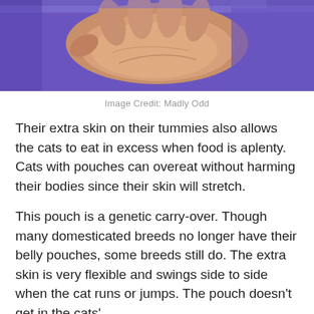[Figure (photo): Close-up photo of a human hand palm-down on a purple/blue furry surface, possibly petting a cat. The background is bright purple.]
Image Credit: Madly Odd
Their extra skin on their tummies also allows the cats to eat in excess when food is aplenty. Cats with pouches can overeat without harming their bodies since their skin will stretch.
This pouch is a genetic carry-over. Though many domesticated breeds no longer have their belly pouches, some breeds still do. The extra skin is very flexible and swings side to side when the cat runs or jumps. The pouch doesn't get in the cats'